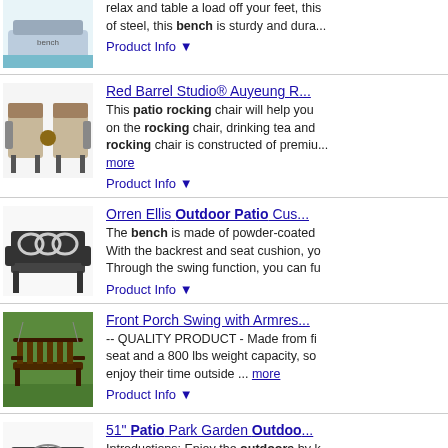[Figure (photo): Photo of a patio glider bench near pool]
relax and table a load off your feet, this bench is made of steel, this bench is sturdy and durable
Product Info ▼
[Figure (photo): Photo of Red Barrel Studio Auyeung patio rocking chair set]
Red Barrel Studio® Auyeung R...
This patio rocking chair will help you on the rocking chair, drinking tea and rocking chair is constructed of premium... more
Product Info ▼
[Figure (photo): Photo of Orren Ellis Outdoor Patio bench glider]
Orren Ellis Outdoor Patio Cus...
The bench is made of powder-coated. With the backrest and seat cushion, you. Through the swing function, you can fu
Product Info ▼
[Figure (photo): Photo of Front Porch Swing with Armrests outdoors on grass]
Front Porch Swing with Armres...
-- QUALITY PRODUCT - Made from fi seat and a 800 lbs weight capacity, so enjoy their time outside ... more
Product Info ▼
[Figure (photo): Photo of 51 inch Patio Park Garden Outdoor bench]
51" Patio Park Garden Outdoo...
Introductions: Enjoy the outdoors by Outdoor Bench! The sturdy, full-sized peacock feather motif for additional ch
Product Info ▼